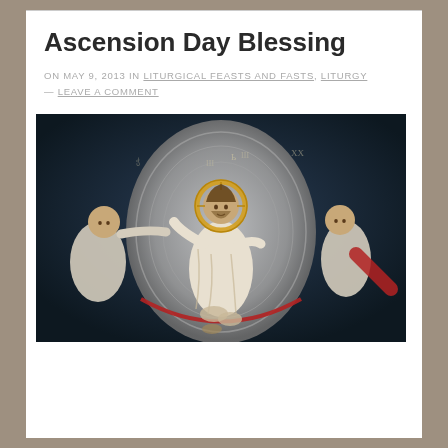Ascension Day Blessing
ON MAY 9, 2013 IN LITURGICAL FEASTS AND FASTS, LITURGY — LEAVE A COMMENT
[Figure (illustration): Byzantine fresco or icon depicting the Ascension of Christ. Christ is shown seated in a mandorla (almond-shaped glory), wearing white robes with a golden halo, raising his right hand in blessing. Angels flank him on both sides against a dark blue background.]